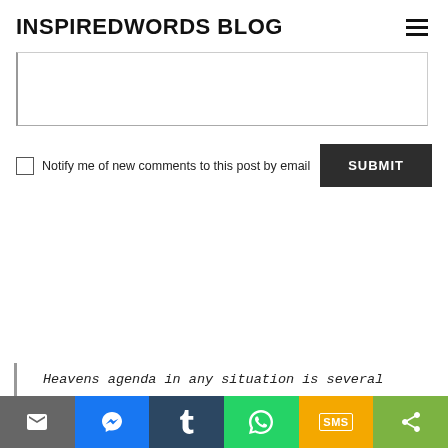INSPIREDWORDS BLOG
[comment textarea]
Notify me of new comments to this post by email  SUBMIT
Heavens agenda in any situation is several
[Figure (infographic): Social share bar with icons: email (gray), messenger (blue), tumblr (dark blue), whatsapp (green), SMS (yellow/orange), share (green)]